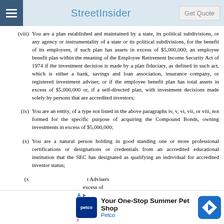StreetInsider | Get Quote
(viii) You are a plan established and maintained by a state, its political subdivisions, or any agency or instrumentality of a state or its political subdivisions, for the benefit of its employees, if such plan has assets in excess of $5,000,000; an employee benefit plan within the meaning of the Employee Retirement Income Security Act of 1974 if the investment decision is made by a plan fiduciary, as defined in such act, which is either a bank, savings and loan association, insurance company, or registered investment adviser, or if the employee benefit plan has total assets in excess of $5,000,000 or, if a self-directed plan, with investment decisions made solely by persons that are accredited investors;
(ix) You are an entity, of a type not listed in the above paragraphs iv, v, vi, vii, or viii, not formed for the specific purpose of acquiring the Compound Bonds, owning investments in excess of $5,000,000;
(x) You are a natural person holding in good standing one or more professional certifications or designations or credentials from an accredited educational institution that the SEC has designated as qualifying an individual for accredited investor status;
(x...) ...t Advisers ...excess of ...purpose of